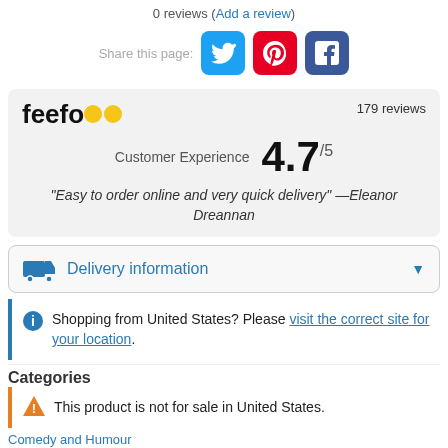0 reviews (Add a review)
[Figure (other): Share this page icons: Twitter, Pinterest, Facebook social media buttons]
[Figure (infographic): Feefo reviews widget showing 179 reviews, Customer Experience score 4.7/5, and quote: Easy to order online and very quick delivery —Eleanor Dreannan]
Delivery information
Shopping from United States? Please visit the correct site for your location.
Categories
This product is not for sale in United States.
Comedy and Humour